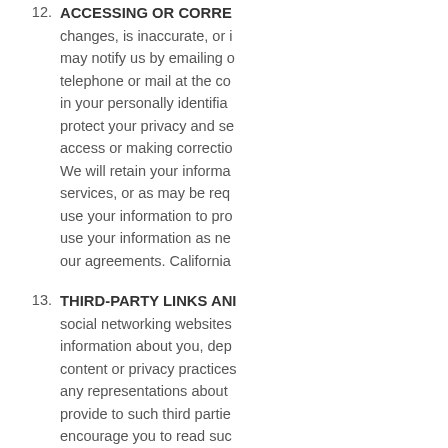12. ACCESSING OR CORRECTING... changes, is inaccurate, or incomplete, you may notify us by emailing or contacting us by telephone or mail at the contact information in your personally identifiable information. To protect your privacy and security, we may restrict access or making corrections to such data. We will retain your information for as long as services, or as may be required by law, and will use your information to provide our services and use your information as necessary to comply with our agreements. California...
13. THIRD-PARTY LINKS AND... social networking websites may collect information about you, depending on their content or privacy practices. We do not make any representations about information you provide to such third parties and we encourage you to read such...
14. SOCIAL MEDIA FEATURES... the Facebook Like button and... run on our site. These feat...